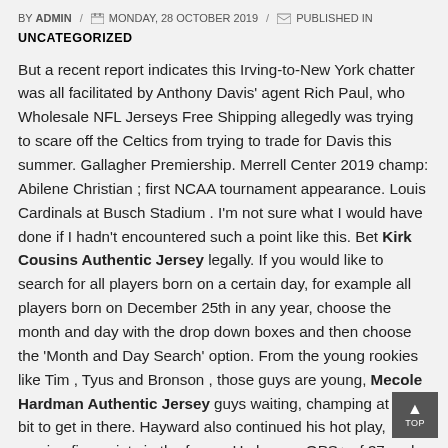BY ADMIN / MONDAY, 28 OCTOBER 2019 / PUBLISHED IN UNCATEGORIZED
But a recent report indicates this Irving-to-New York chatter was all facilitated by Anthony Davis' agent Rich Paul, who Wholesale NFL Jerseys Free Shipping allegedly was trying to scare off the Celtics from trying to trade for Davis this summer. Gallagher Premiership. Merrell Center 2019 champ: Abilene Christian ; first NCAA tournament appearance. Louis Cardinals at Busch Stadium . I'm not sure what I would have done if I hadn't encountered such a point like this. Bet Kirk Cousins Authentic Jersey legally. If you would like to search for all players born on a certain day, for example all players born on December 25th in any year, choose the month and day with the drop down boxes and then choose the 'Month and Day Search' option. From the young rookies like Tim , Tyus and Bronson , those guys are young, Mecole Hardman Authentic Jersey guys waiting, champing at the bit to get in there. Hayward also continued his hot play, scoring five points in the frame. He has an OPS+ of 37 and NFL Jerseys 2017 a slugging percentage of .313. They chased me down Wholesale Jerseys NFL the ball and they caught me. Washington as a staff has